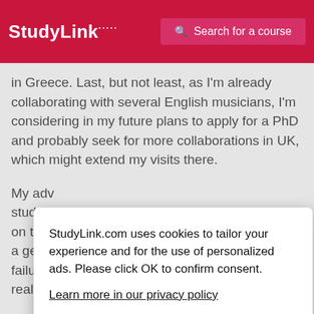StudyLink | Search for a course
in Greece. Last, but not least, as I'm already collaborating with several English musicians, I'm considering in my future plans to apply for a PhD and probably seek for more collaborations in UK, which might extend my visits there.
My adv... studen... on the... a gene... failure,... really li...
StudyLink.com uses cookies to tailor your experience and for the use of personalized ads. Please click OK to confirm consent.
Learn more in our privacy policy
OK